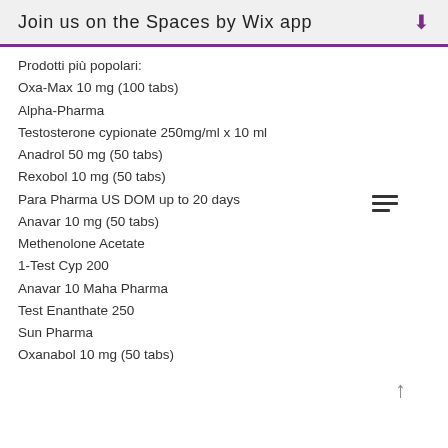Join us on the Spaces by Wix app
Prodotti più popolari:
Oxa-Max 10 mg (100 tabs)
Alpha-Pharma
Testosterone cypionate 250mg/ml x 10 ml
Anadrol 50 mg (50 tabs)
Rexobol 10 mg (50 tabs)
Para Pharma US DOM up to 20 days
Anavar 10 mg (50 tabs)
Methenolone Acetate
1-Test Cyp 200
Anavar 10 Maha Pharma
Test Enanthate 250
Sun Pharma
Oxanabol 10 mg (50 tabs)
https://www.thebritishsupermarketorba.com/